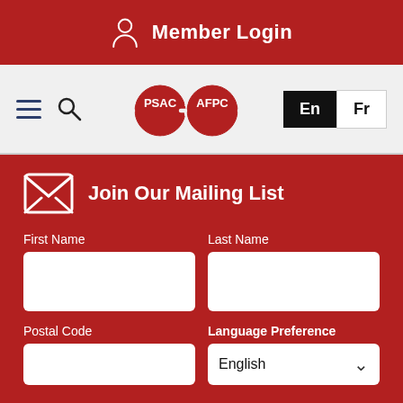Member Login
[Figure (logo): PSAC / AFPC interlocking gear logo with navigation icons (hamburger menu, search) and language toggle buttons En / Fr]
Join Our Mailing List
First Name
Last Name
Postal Code
Language Preference
English